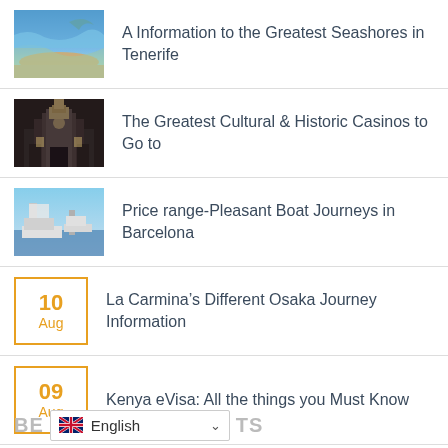A Information to the Greatest Seashores in Tenerife
The Greatest Cultural & Historic Casinos to Go to
Price range-Pleasant Boat Journeys in Barcelona
La Carmina’s Different Osaka Journey Information
Kenya eVisa: All the things you Must Know
What to Do in Venice, Italy
BE ... TS  English (language selector)